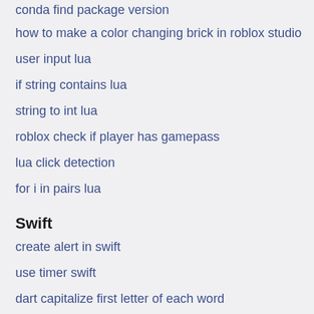conda find package version
how to make a color changing brick in roblox studio
user input lua
if string contains lua
string to int lua
roblox check if player has gamepass
lua click detection
for i in pairs lua
Swift
create alert in swift
use timer swift
dart capitalize first letter of each word
string to capital letter dart
convert string to int swift